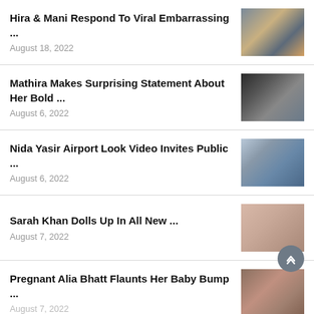Hira & Mani Respond To Viral Embarrassing ...
August 18, 2022
Mathira Makes Surprising Statement About Her Bold ...
August 6, 2022
Nida Yasir Airport Look Video Invites Public ...
August 6, 2022
Sarah Khan Dolls Up In All New ...
August 7, 2022
Pregnant Alia Bhatt Flaunts Her Baby Bump ...
August 7, 2022